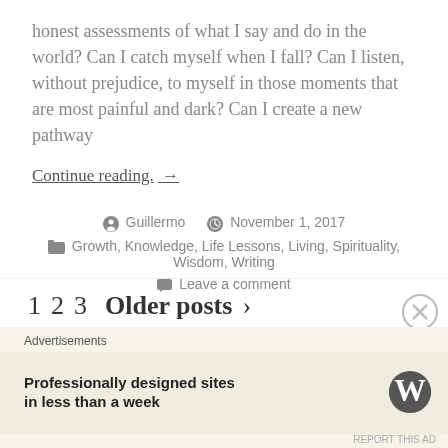honest assessments of what I say and do in the world?  Can I catch myself when I fall?  Can I listen, without prejudice, to myself in those moments that are most painful and dark?  Can I create a new pathway
Continue reading.  →
Guillermo   November 1, 2017
Growth, Knowledge, Life Lessons, Living, Spirituality, Wisdom, Writing
Leave a comment
1   2   3   Older posts  >
Advertisements
Professionally designed sites in less than a week